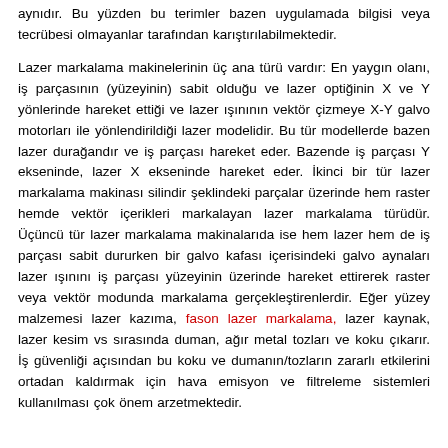aynıdır. Bu yüzden bu terimler bazen uygulamada bilgisi veya tecrübesi olmayanlar tarafından karıştırılabilmektedir.
Lazer markalama makinelerinin üç ana türü vardır: En yaygın olanı, iş parçasının (yüzeyinin) sabit olduğu ve lazer optiğinin X ve Y yönlerinde hareket ettiği ve lazer ışınının vektör çizmeye X-Y galvo motorları ile yönlendirildiği lazer modelidir. Bu tür modellerde bazen lazer durağandır ve iş parçası hareket eder. Bazende iş parçası Y ekseninde, lazer X ekseninde hareket eder. İkinci bir tür lazer markalama makinası silindir şeklindeki parçalar üzerinde hem raster hemde vektör içerikleri markalayan lazer markalama türüdür. Üçüncü tür lazer markalama makinalarıda ise hem lazer hem de iş parçası sabit dururken bir galvo kafası içerisindeki galvo aynaları lazer ışınını iş parçası yüzeyinin üzerinde hareket ettirerek raster veya vektör modunda markalama gerçekleştirenlerdir. Eğer yüzey malzemesi lazer kazıma, fason lazer markalama, lazer kaynak, lazer kesim vs sırasında duman, ağır metal tozları ve koku çıkarır. İş güvenliği açısından bu koku ve dumanın/tozların zararlı etkilerini ortadan kaldırmak için hava emisyon ve filtreleme sistemleri kullanılması çok önem arzetmektedir.